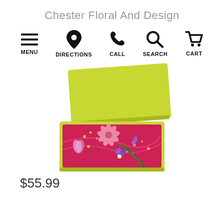Chester Floral And Design
[Figure (infographic): Navigation bar with five icons: hamburger menu, map pin for directions, phone for call, magnifying glass for search, and shopping cart for cart. Each icon labeled below.]
[Figure (photo): A yellow-green gift box with the lid partially open, revealing a bouquet of pink and purple flowers including gerbera daisies, tulips, lavender, and baby's breath on a magenta tissue paper lining.]
$55.99